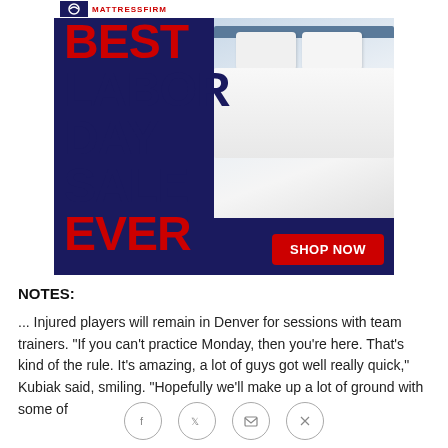[Figure (photo): Mattress Firm advertisement banner showing a bed with white pillows and comforter. Large bold text reads 'BEST LABOR DAY SALE EVER' with a red 'SHOP NOW' button. Header shows Mattress Firm branding in red text.]
NOTES:
... Injured players will remain in Denver for sessions with team trainers. "If you can't practice Monday, then you're here. That's kind of the rule. It's amazing, a lot of guys got well really quick," Kubiak said, smiling. "Hopefully we'll make up a lot of ground with some of